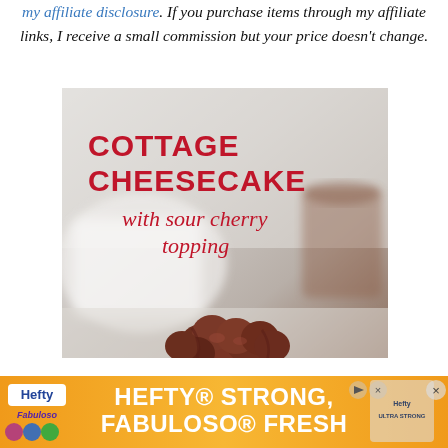my affiliate disclosure. If you purchase items through my affiliate links, I receive a small commission but your price doesn't change.
[Figure (photo): Food blog photo showing cottage cheesecake with sour cherry topping. Text overlay reads 'COTTAGE CHEESECAKE with sour cherry topping' in red. Background shows blurred white bowls and a dark glass. Cherry topping visible at bottom of image.]
[Figure (infographic): Orange advertisement banner for Hefty and Fabuloso products. Text reads 'HEFTY STRONG, FABULOSO FRESH' in white bold letters on orange background.]